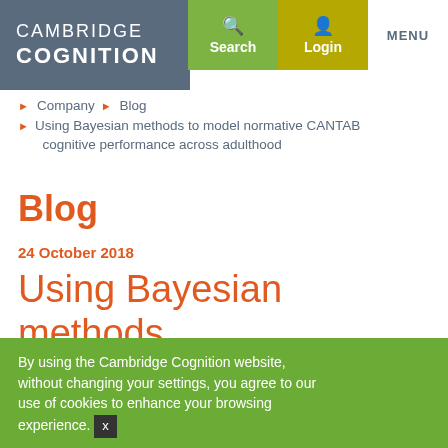CAMBRIDGE COGNITION — Search Login MENU
Company › Blog › Using Bayesian methods to model normative CANTAB cognitive performance across adulthood
Blog
24 October 2018
Using Bayesian methods to model normative
By using the Cambridge Cognition website, without changing your settings, you agree to our use of cookies to enhance your browsing experience. X